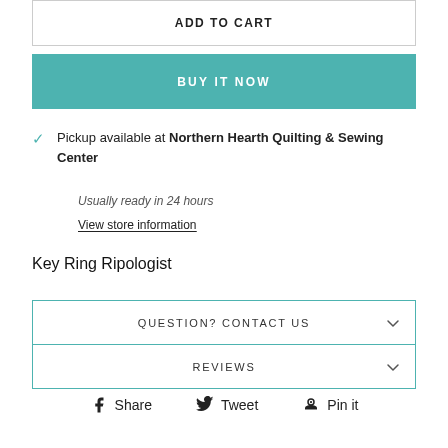ADD TO CART
BUY IT NOW
Pickup available at Northern Hearth Quilting & Sewing Center
Usually ready in 24 hours
View store information
Key Ring Ripologist
QUESTION? CONTACT US
REVIEWS
Share  Tweet  Pin it